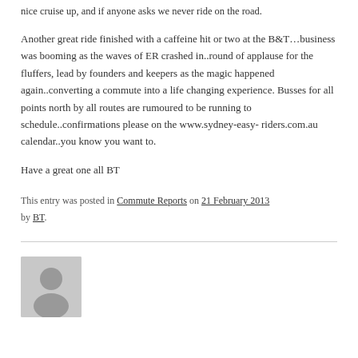nice cruise up, and if anyone asks we never ride on the road.
Another great ride finished with a caffeine hit or two at the B&T...business was booming as the waves of ER crashed in..round of applause for the fluffers, lead by founders and keepers as the magic happened again..converting a commute into a life changing experience. Busses for all points north by all routes are rumoured to be running to schedule..confirmations please on the www.sydney-easy-riders.com.au calendar..you know you want to.
Have a great one all BT
This entry was posted in Commute Reports on 21 February 2013 by BT.
[Figure (photo): Grey avatar / placeholder user icon showing a silhouette of a person]